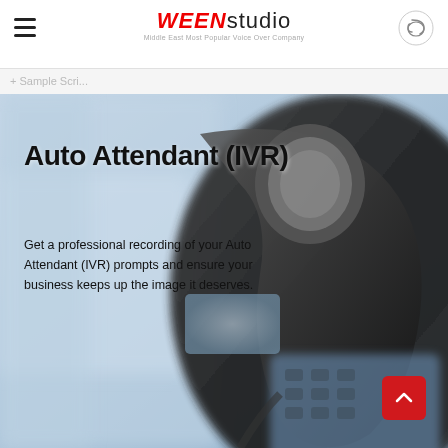WEEN studio — Middle East Most Popular Voice Over Company
+ Sample Scri...
[Figure (photo): Close-up photograph of a black office IP telephone handset and keypad with blurred blue background, overlaid with text reading 'Auto Attendant (IVR)' and 'Get a professional recording of your Auto Attendant (IVR) prompts and ensure your business keeps up the image it deserves.' A red scroll-to-top button appears in the lower right.]